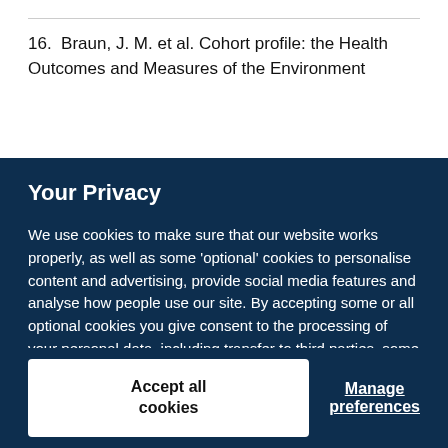16. Braun, J. M. et al. Cohort profile: the Health Outcomes and Measures of the Environment
Your Privacy

We use cookies to make sure that our website works properly, as well as some 'optional' cookies to personalise content and advertising, provide social media features and analyse how people use our site. By accepting some or all optional cookies you give consent to the processing of your personal data, including transfer to third parties, some in countries outside of the European Economic Area that do not offer the same data protection standards as the country where you live. You can decide which optional cookies to accept by clicking on 'Manage Settings', where you can also find more information about how your personal data is processed. Further information can be found in our privacy policy.
Accept all cookies
Manage preferences